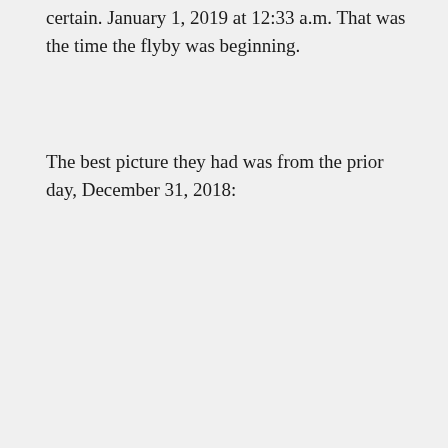certain. January 1, 2019 at 12:33 a.m. That was the time the flyby was beginning.
The best picture they had was from the prior day, December 31, 2018: